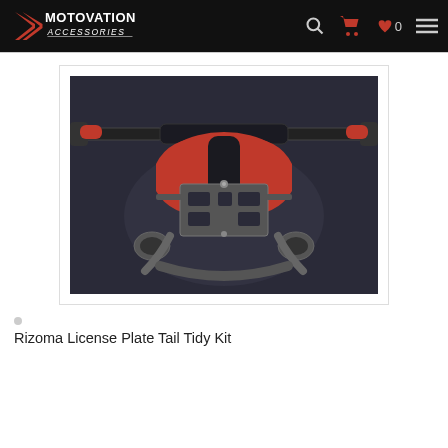Motovation Accessories
[Figure (photo): Rear view of a red motorcycle showing a license plate tail tidy kit mounted to the rear of the bike, shot from directly behind against a dark background. The metal bracket hardware is clearly visible at the rear.]
Rizoma License Plate Tail Tidy Kit